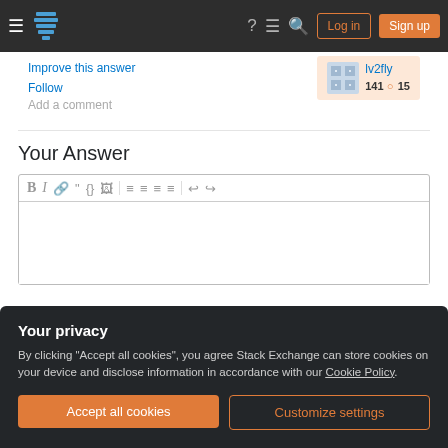Stack Exchange navigation bar with Log in and Sign up buttons
Improve this answer
Follow
Add a comment
lv2fly 141 15
Your Answer
[Figure (screenshot): Rich text editor toolbar with Bold, Italic, Link, Quote, Code, Image, Ordered list, Unordered list, and text alignment icons, plus undo/redo buttons]
Your privacy
By clicking "Accept all cookies", you agree Stack Exchange can store cookies on your device and disclose information in accordance with our Cookie Policy.
Accept all cookies
Customize settings